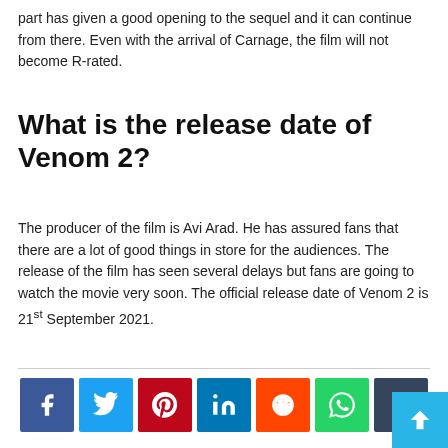part has given a good opening to the sequel and it can continue from there. Even with the arrival of Carnage, the film will not become R-rated.
What is the release date of Venom 2?
The producer of the film is Avi Arad. He has assured fans that there are a lot of good things in store for the audiences. The release of the film has seen several delays but fans are going to watch the movie very soon. The official release date of Venom 2 is 21st September 2021.
[Figure (other): Social sharing buttons row: Facebook, Twitter, Pinterest, LinkedIn, Reddit, WhatsApp, Tumblr]